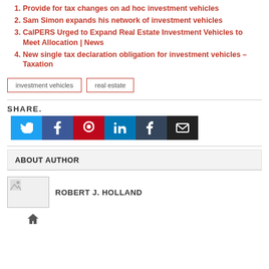1. Provide for tax changes on ad hoc investment vehicles
2. Sam Simon expands his network of investment vehicles
3. CalPERS Urged to Expand Real Estate Investment Vehicles to Meet Allocation | News
4. New single tax declaration obligation for investment vehicles – Taxation
investment vehicles   real estate
SHARE.
[Figure (other): Social share buttons: Twitter, Facebook, Pinterest, LinkedIn, Tumblr, Email]
ABOUT AUTHOR
ROBERT J. HOLLAND